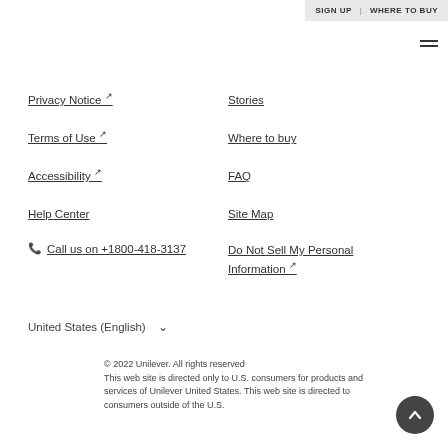SIGN UP | WHERE TO BUY
Privacy Notice ↗
Terms of Use ↗
Accessibility ↗
Help Center
Call us on +1800-418-3137
Stories
Where to buy
FAQ
Site Map
Do Not Sell My Personal Information ↗
United States (English) ∨
© 2022 Unilever. All rights reserved
This web site is directed only to U.S. consumers for products and services of Unilever United States. This web site is directed to consumers outside of the U.S.